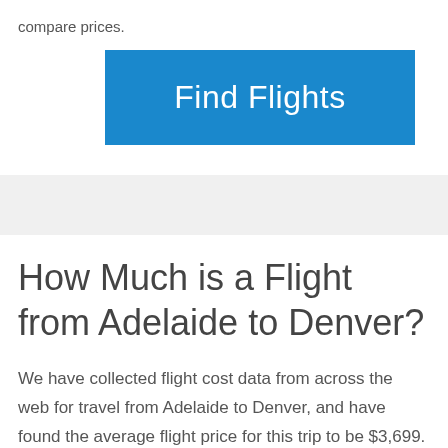compare prices.
[Figure (other): Blue 'Find Flights' button]
How Much is a Flight from Adelaide to Denver?
We have collected flight cost data from across the web for travel from Adelaide to Denver, and have found the average flight price for this trip to be $3,699.